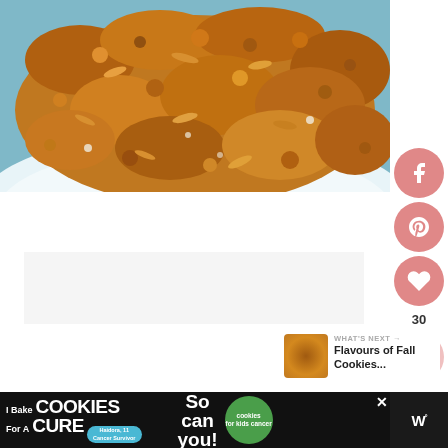[Figure (photo): Close-up photo of oatmeal cookies or granola clusters in a white bowl, on a blue background. Brown, textured baked goods filling the frame.]
[Figure (screenshot): Social media sidebar with Facebook, Pinterest, heart/like buttons and a share button. Like count shows 30.]
WHAT'S NEXT → Flavours of Fall Cookies...
[Figure (photo): Thumbnail image of cookies for 'Flavours of Fall Cookies...' article.]
[Figure (infographic): Advertisement banner: 'I Bake COOKIES For A CURE' - Haidora, 11 Cancer Survivor - 'So can you!' with cookies for kids cancer logo. Close button X visible. WW logo on right side.]